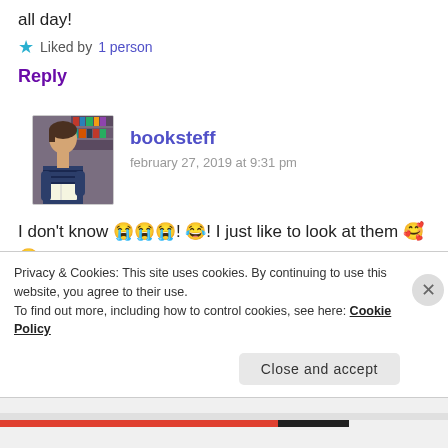all day!
★ Liked by 1 person
Reply
[Figure (photo): Profile photo of booksteff, a person in front of bookshelves holding an open book]
booksteff
february 27, 2019 at 9:31 pm
I don't know 😭😭😭! 😂! I just like to look at them 🥰😂! And use them to bury myself
Privacy & Cookies: This site uses cookies. By continuing to use this website, you agree to their use.
To find out more, including how to control cookies, see here: Cookie Policy
Close and accept